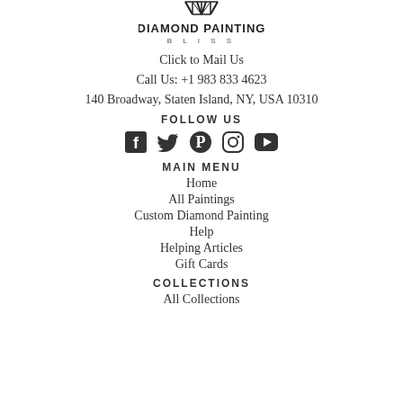[Figure (logo): Diamond Painting Bliss logo with diamond/gem shape above bold text DIAMOND PAINTING and smaller spaced text BLISS]
Click to Mail Us
Call Us: +1 983 833 4623
140 Broadway, Staten Island, NY, USA 10310
FOLLOW US
[Figure (infographic): Social media icons: Facebook, Twitter, Pinterest, Instagram, YouTube]
MAIN MENU
Home
All Paintings
Custom Diamond Painting
Help
Helping Articles
Gift Cards
COLLECTIONS
All Collections